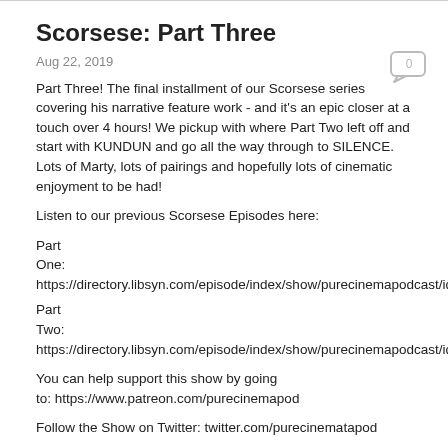Scorsese: Part Three
Aug 22, 2019
Part Three! The final installment of our Scorsese series covering his narrative feature work - and it's an epic closer at a touch over 4 hours! We pickup with where Part Two left off and start with KUNDUN and go all the way through to SILENCE. Lots of Marty, lots of pairings and hopefully lots of cinematic enjoyment to be had!
Listen to our previous Scorsese Episodes here:
Part One: https://directory.libsyn.com/episode/index/show/purecinemapodcast/id/7304...
Part Two: https://directory.libsyn.com/episode/index/show/purecinemapodcast/id/83545...
You can help support this show by going to: https://www.patreon.com/purecinemapod
Follow the Show on Twitter: twitter.com/purecinematapod
Instagram: www.instagram.com/purecinemapod/
and Facebook: www.facebook.com/purecinemapod/